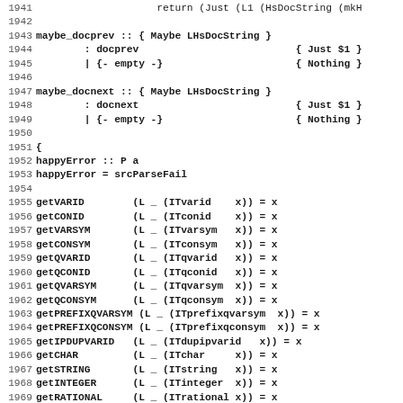[Figure (screenshot): Source code listing in Haskell, lines 1941-1972, showing functions maybe_docprev, maybe_docnext, happyError, and getVARID through getPRIMINTEGER]